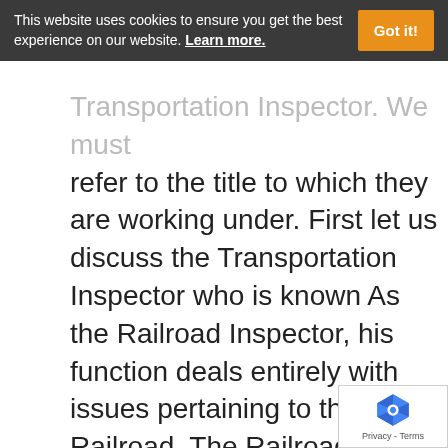This website uses cookies to ensure you get the best experience on our website. Learn more. Got it!
Transportation Inspector. We must refer to the title to which they are working under. First let us discuss the Transportation Inspector who is known As the Railroad Inspector, his function deals entirely with issues pertaining to the Railroad. The Railroad Inspectors must monitor railroad equipment to make sure that everything is kept in good working order in case of a emergency. The Railroad Inspector